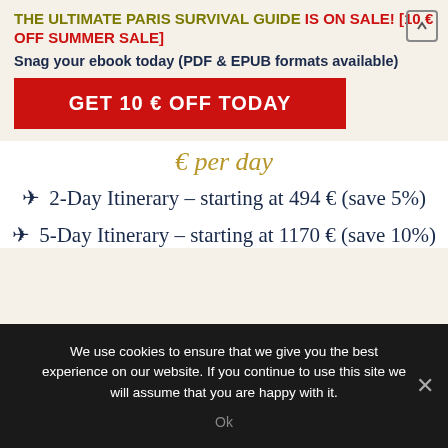THE ULTIMATE PARIS SURVIVAL GUIDE IS ON SALE! [10 € OFF SUMMER SALE] Snag your ebook today (PDF & EPUB formats available)
GET 10 € OFF TODAY
€ per day
➤ 2-Day Itinerary – starting at 494 € (save 5%)
➤ 5-Day Itinerary – starting at 1170 € (save 10%)
We use cookies to ensure that we give you the best experience on our website. If you continue to use this site we will assume that you are happy with it.
Ok